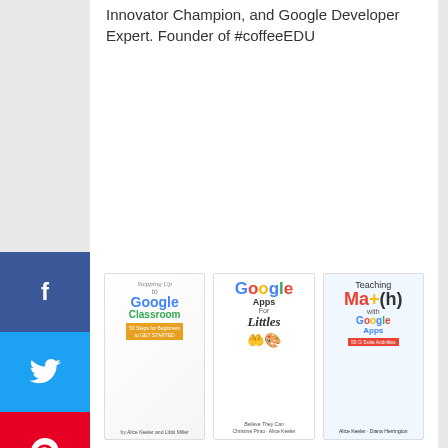Innovator Champion, and Google Developer Expert. Founder of #coffeeEDU
[Figure (illustration): Social media share buttons sidebar: Facebook (blue), Twitter (light blue), Pinterest (red), Reddit (orange-red), Email (blue), Phone/SMS (green)]
[Figure (photo): Three book covers: 'Stepping Up to Google Classroom: 50 Steps for Beginners to Get Started', 'Google Apps For Littles: Believe They Can' by Christine Pinto and Alice Keeler, 'Teaching Ma+(h) with Google Apps: 50 G Suite Activities' by Alice Keeler and Diana Herrington]